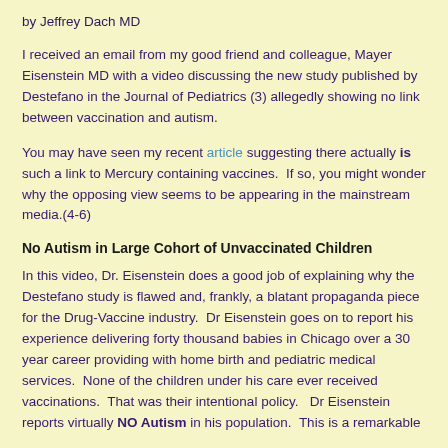by Jeffrey Dach MD
I received an email from my good friend and colleague, Mayer Eisenstein MD with a video discussing the new study published by Destefano in the Journal of Pediatrics (3) allegedly showing no link between vaccination and autism.
You may have seen my recent article suggesting there actually is such a link to Mercury containing vaccines.  If so, you might wonder why the opposing view seems to be appearing in the mainstream media.(4-6)
No Autism in Large Cohort of Unvaccinated Children
In this video, Dr. Eisenstein does a good job of explaining why the Destefano study is flawed and, frankly, a blatant propaganda piece for the Drug-Vaccine industry.  Dr Eisenstein goes on to report his experience delivering forty thousand babies in Chicago over a 30 year career providing with home birth and pediatric medical services.  None of the children under his care ever received vaccinations.  That was their intentional policy.   Dr Eisenstein reports virtually NO Autism in his population.  This is a remarkable